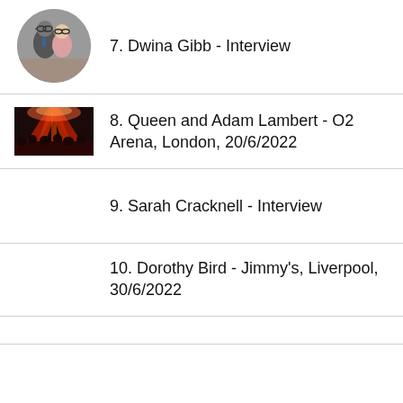7. Dwina Gibb - Interview
8. Queen and Adam Lambert - O2 Arena, London, 20/6/2022
9. Sarah Cracknell - Interview
10. Dorothy Bird - Jimmy's, Liverpool, 30/6/2022